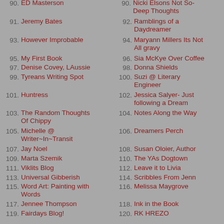90. ED Masterson
91. Jeremy Bates
92. Ramblings of a Daydreamer
93. However Improbable
94. Maryann Millers Its Not All gravy
95. My First Book
96. Sia McKye Over Coffee
97. Denise Covey, LAussie
98. Donna Shields
99. Tyreans Writing Spot
100. Suzi @ Literary Engineer
101. Huntress
102. Jessica Salyer- Just following a Dream
103. The Random Thoughts Of Chippy
104. Notes Along the Way
105. Michelle @ Writer~In~Transit
106. Dreamers Perch
107. Jay Noel
108. Susan Oloier, Author
109. Marta Szemik
110. The YAs Dogtown
111. Viklits Blog
112. Leave it to Livia
113. Universal Gibberish
114. Scribbles From Jenn
115. Word Art: Painting with Words
116. Melissa Maygrove
117. Jennee Thompson
118. Ink in the Book
119. Fairdays Blog!
120. RK HREZO